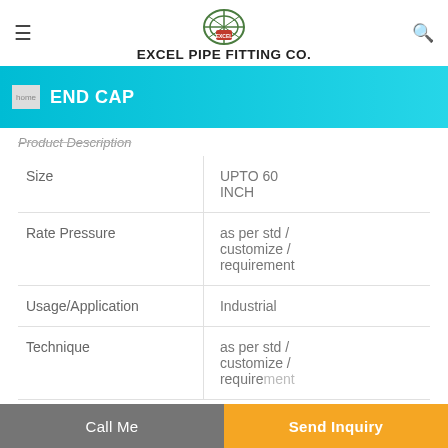EXCEL PIPE FITTING CO.
END CAP
Product Description
|  |  |
| --- | --- |
| Size | UPTO 60 INCH |
| Rate Pressure | as per std / customize / requirement |
| Usage/Application | Industrial |
| Technique | as per std / customize / requirement |
Call Me   Send Inquiry